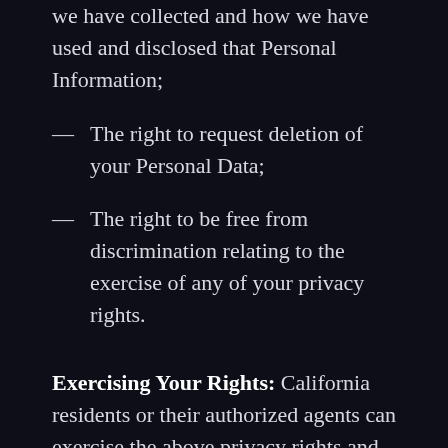we have collected and how we have used and disclosed that Personal Information;
The right to request deletion of your Personal Data;
The right to be free from discrimination relating to the exercise of any of your privacy rights.
Exercising Your Rights: California residents or their authorized agents can exercise the above privacy rights and request alternative forms of this